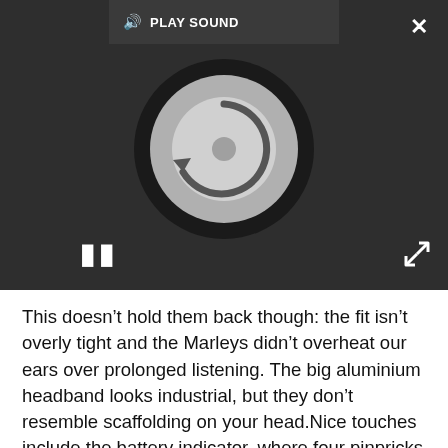[Figure (screenshot): A media player UI overlay showing a dark background with a spinning loading disc/circle (gray vinyl record shape with a circular arrow), a pause button (two vertical bars) at the bottom left, a 'PLAY SOUND' button with speaker icon at the top center, a close X button at the top right, and an expand arrows icon at the bottom right.]
This doesn’t hold them back though: the fit isn’t overly tight and the Marleys didn’t overheat our ears over prolonged listening. The big aluminium headband looks industrial, but they don’t resemble scaffolding on your head.Nice touches include the battery indicator, where four pinpricks of light indicate how much life is left in the cans.
If you need to switch to using them wired, the supplied cable also has a mic and one-button control for answering calls. Playback and volume are changed by using simple, plastic rocker buttons – they’re okay